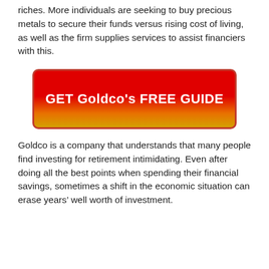riches. More individuals are seeking to buy precious metals to secure their funds versus rising cost of living, as well as the firm supplies services to assist financiers with this.
[Figure (other): Red to orange/yellow gradient button with bold white text reading GET Goldco's FREE GUIDE, with a dark red border and rounded corners.]
Goldco is a company that understands that many people find investing for retirement intimidating. Even after doing all the best points when spending their financial savings, sometimes a shift in the economic situation can erase years’ well worth of investment.